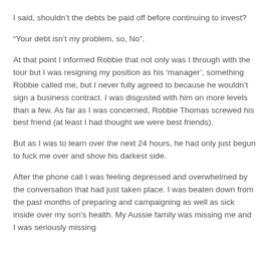I said, shouldn't the debts be paid off before continuing to invest?
“Your debt isn’t my problem, so, No”.
At that point I informed Robbie that not only was I through with the tour but I was resigning my position as his ‘manager’, something Robbie called me, but I never fully agreed to because he wouldn’t sign a business contract. I was disgusted with him on more levels than a few. As far as I was concerned, Robbie Thomas screwed his best friend (at least I had thought we were best friends).
But as I was to learn over the next 24 hours, he had only just begun to fuck me over and show his darkest side.
After the phone call I was feeling depressed and overwhelmed by the conversation that had just taken place. I was beaten down from the past months of preparing and campaigning as well as sick inside over my son’s health. My Aussie family was missing me and I was seriously missing